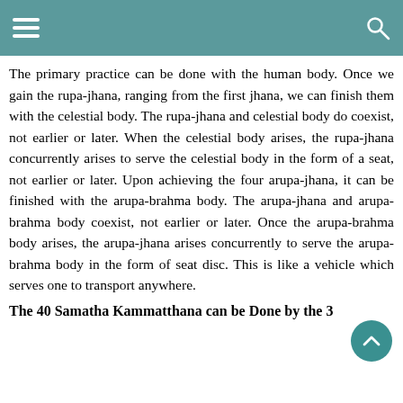Navigation header with hamburger menu and search icon
The primary practice can be done with the human body. Once we gain the rupa-jhana, ranging from the first jhana, we can finish them with the celestial body. The rupa-jhana and celestial body do coexist, not earlier or later. When the celestial body arises, the rupa-jhana concurrently arises to serve the celestial body in the form of a seat, not earlier or later. Upon achieving the four arupa-jhana, it can be finished with the arupa-brahma body. The arupa-jhana and arupa-brahma body coexist, not earlier or later. Once the arupa-brahma body arises, the arupa-jhana arises concurrently to serve the arupa-brahma body in the form of seat disc. This is like a vehicle which serves one to transport anywhere.
The 40 Samatha Kammatthana can be Done by the 3